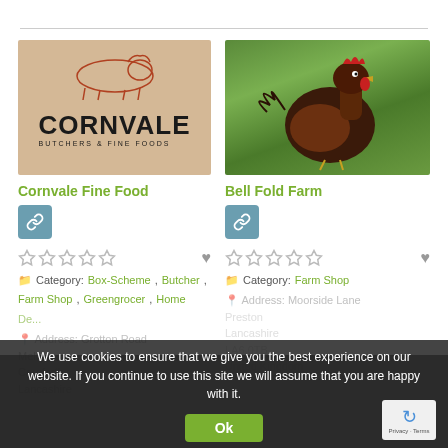[Figure (logo): Cornvale Butchers & Fine Foods logo on beige background with red cow illustration]
[Figure (photo): Photo of a dark brown/red hen (chicken) standing on green grass]
Cornvale Fine Food
Bell Fold Farm
Category: Box-Scheme, Butcher, Farm Shop, Greengrocer, Home De...
Category: Farm Shop
Address: Moorside Lane
Address: Grotton Road
Melling
Carnforth
Lancashire
We use cookies to ensure that we give you the best experience on our website. If you continue to use this site we will assume that you are happy with it.